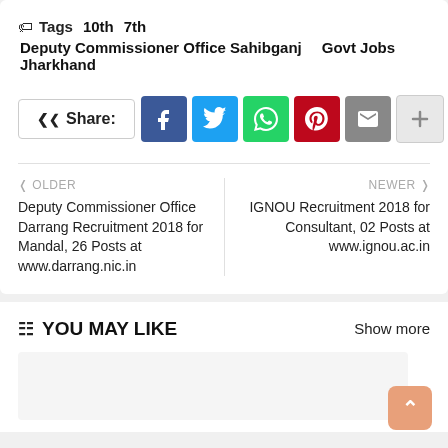Tags  10th  7th  Deputy Commissioner Office Sahibganj  Govt Jobs  Jharkhand
[Figure (infographic): Share buttons row: Share label box, Facebook, Twitter, WhatsApp, Pinterest, Email, More (+) social sharing buttons]
< OLDER
Deputy Commissioner Office Darrang Recruitment 2018 for Mandal, 26 Posts at www.darrang.nic.in
NEWER >
IGNOU Recruitment 2018 for Consultant, 02 Posts at www.ignou.ac.in
YOU MAY LIKE
Show more